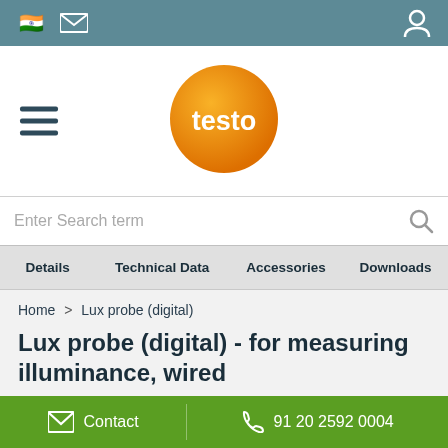testo India website header with flag, email, and account icons
[Figure (logo): Testo orange circular logo with white 'testo' text]
Enter Search term
Details   Technical Data   Accessories   Downloads
Home > Lux probe (digital)
Lux probe (digital) - for measuring illuminance, wired
Order-Nr.  0635 0551
Contact   91 20 2592 0004